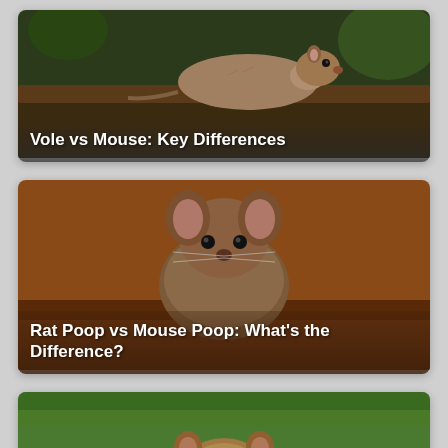[Figure (photo): Photo of a vole on a log against a dark green background, with white bold text overlay reading 'Vole vs Mouse: Key Differences']
[Figure (photo): Photo of a brown mouse/rat viewed from above on a brownish surface, with white bold text overlay reading 'Rat Poop vs Mouse Poop: What's the Difference?']
[Figure (photo): Photo of a groundhog peeking over a dirt ledge with green grass behind it, with white bold text overlay reading 'What Do Groundhogs Eat?']